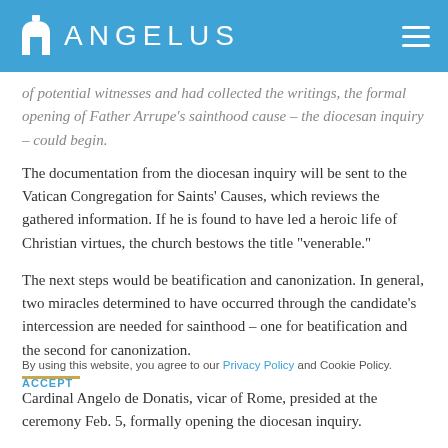ANGELUS
of potential witnesses and had collected the writings, the formal opening of Father Arrupe's sainthood cause – the diocesan inquiry – could begin.
The documentation from the diocesan inquiry will be sent to the Vatican Congregation for Saints' Causes, which reviews the gathered information. If he is found to have led a heroic life of Christian virtues, the church bestows the title "venerable."
The next steps would be beatification and canonization. In general, two miracles determined to have occurred through the candidate's intercession are needed for sainthood – one for beatification and the second for canonization.
Cardinal Angelo de Donatis, vicar of Rome, presided at the ceremony Feb. 5, formally opening the diocesan inquiry.